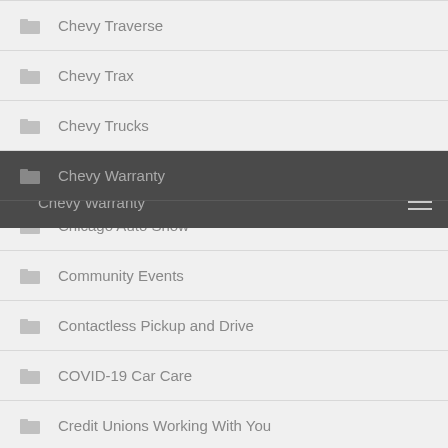Chevy Traverse
Chevy Trax
Chevy Trucks
Chevy Warranty
Chicago Auto Show
Community Events
Contactless Pickup and Drive
COVID-19 Car Care
Credit Unions Working With You